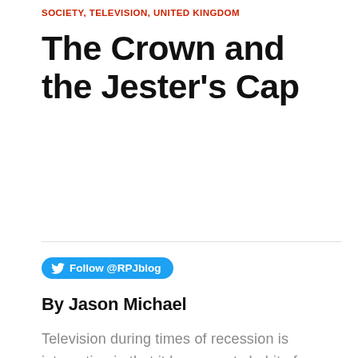SOCIETY, TELEVISION, UNITED KINGDOM
The Crown and the Jester’s Cap
Follow @RPJblog
By Jason Michael
Television during times of recession is interesting in that it has a nasty habit of waving under our noses the lives of the super-wealthy great and good. Now we have the